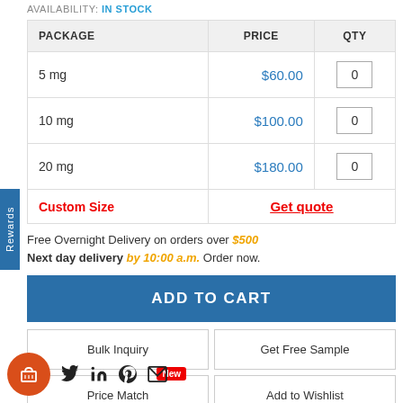AVAILABILITY: IN STOCK
| PACKAGE | PRICE | QTY |
| --- | --- | --- |
| 5 mg | $60.00 | 0 |
| 10 mg | $100.00 | 0 |
| 20 mg | $180.00 | 0 |
| Custom Size | Get quote |  |
Free Overnight Delivery on orders over $500
Next day delivery by 10:00 a.m. Order now.
ADD TO CART
Bulk Inquiry
Get Free Sample
Price Match New
Add to Wishlist